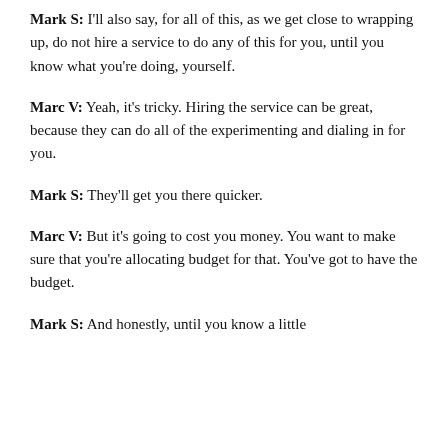Mark S: I'll also say, for all of this, as we get close to wrapping up, do not hire a service to do any of this for you, until you know what you're doing, yourself.
Marc V: Yeah, it's tricky. Hiring the service can be great, because they can do all of the experimenting and dialing in for you.
Mark S: They'll get you there quicker.
Marc V: But it's going to cost you money. You want to make sure that you're allocating budget for that. You've got to have the budget.
Mark S: And honestly, until you know a little